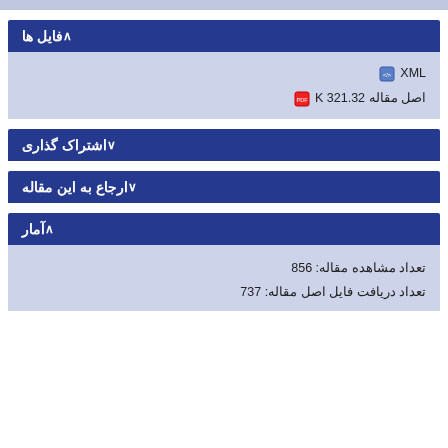فایل ها
XML
اصل مقاله 321.32 K
اشتراک گذاری
ارجاع به این مقاله
آمار
تعداد مشاهده مقاله: 856
تعداد دریافت فایل اصل مقاله: 737